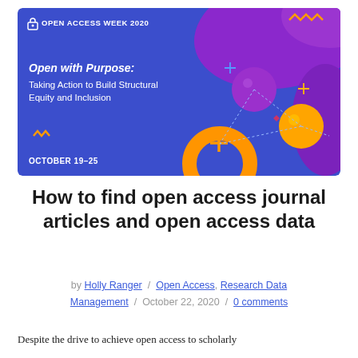[Figure (illustration): Open Access Week 2020 banner with blue/purple gradient background, geometric shapes, spheres, and text reading 'Open with Purpose: Taking Action to Build Structural Equity and Inclusion' and 'OCTOBER 19-25']
How to find open access journal articles and open access data
by Holly Ranger / Open Access, Research Data Management / October 22, 2020 / 0 comments
Despite the drive to achieve open access to scholarly